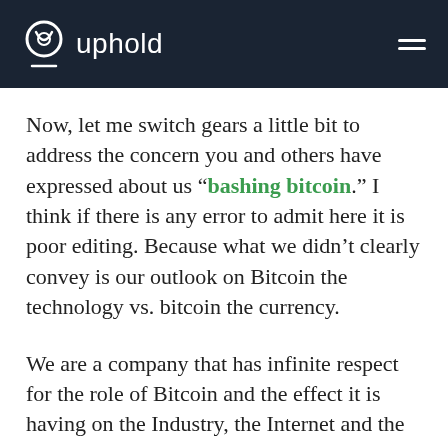uphold
Now, let me switch gears a little bit to address the concern you and others have expressed about us “bashing bitcoin.” I think if there is any error to admit here it is poor editing. Because what we didn’t clearly convey is our outlook on Bitcoin the technology vs. bitcoin the currency.
We are a company that has infinite respect for the role of Bitcoin and the effect it is having on the Industry, the Internet and the World. While we understand how Bitcoin (the technology)